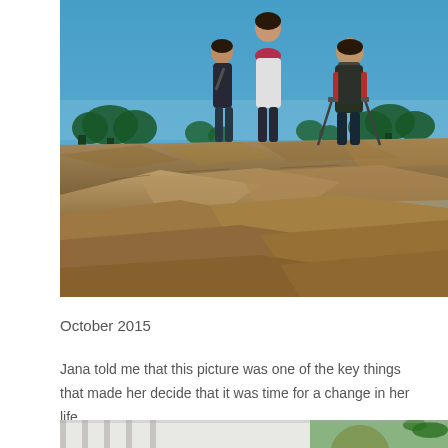[Figure (photo): Three people standing on a rocky mountain summit with evergreen trees and blue sky in the background. Two wear backpacks; one uses trekking poles.]
October 2015
Jana told me that this picture was one of the key things that made her decide that it was time for a change in her life.
[Figure (photo): Partial photo showing a person indoors with green background and a plant visible.]